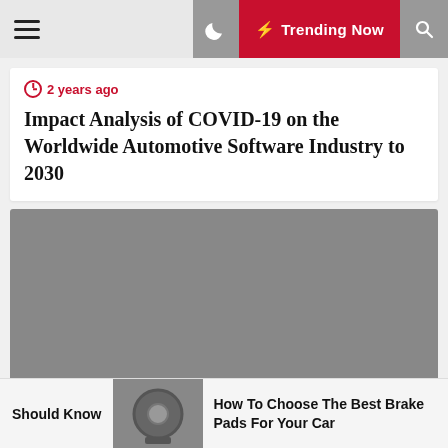Trending Now
2 years ago
Impact Analysis of COVID-19 on the Worldwide Automotive Software Industry to 2030
[Figure (photo): Grey placeholder image]
1 year ago
Should Know
[Figure (photo): Small thumbnail image of brake pads/car wheel]
How To Choose The Best Brake Pads For Your Car